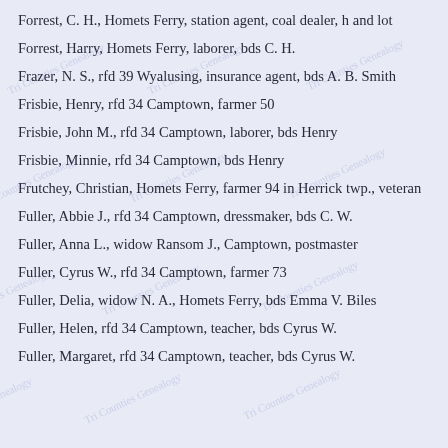Forrest, C. H., Homets Ferry, station agent, coal dealer, h and lot
Forrest, Harry, Homets Ferry, laborer, bds C. H.
Frazer, N. S., rfd 39 Wyalusing, insurance agent, bds A. B. Smith
Frisbie, Henry, rfd 34 Camptown, farmer 50
Frisbie, John M., rfd 34 Camptown, laborer, bds Henry
Frisbie, Minnie, rfd 34 Camptown, bds Henry
Frutchey, Christian, Homets Ferry, farmer 94 in Herrick twp., veteran
Fuller, Abbie J., rfd 34 Camptown, dressmaker, bds C. W.
Fuller, Anna L., widow Ransom J., Camptown, postmaster
Fuller, Cyrus W., rfd 34 Camptown, farmer 73
Fuller, Delia, widow N. A., Homets Ferry, bds Emma V. Biles
Fuller, Helen, rfd 34 Camptown, teacher, bds Cyrus W.
Fuller, Margaret, rfd 34 Camptown, teacher, bds Cyrus W.